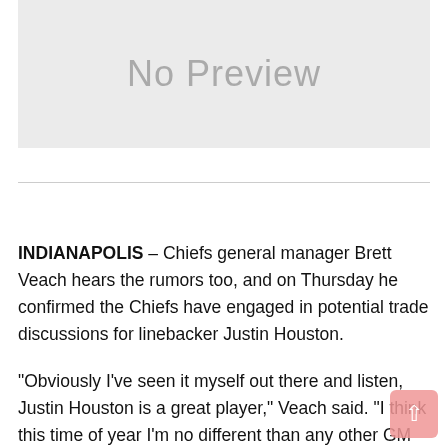[Figure (other): No Preview placeholder image box with grey background]
INDIANAPOLIS – Chiefs general manager Brett Veach hears the rumors too, and on Thursday he confirmed the Chiefs have engaged in potential trade discussions for linebacker Justin Houston.
"Obviously I've seen it myself out there and listen, Justin Houston is a great player," Veach said. "I think this time of year I'm no different than any other GM